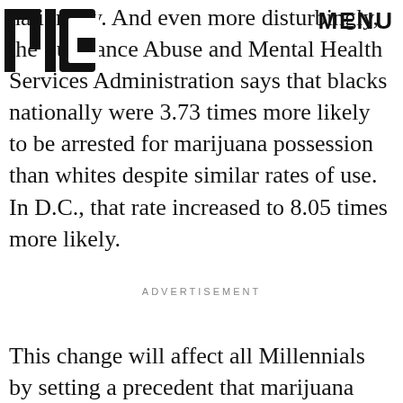MIC | MENU
nationally. And even more disturbingly, the Substance Abuse and Mental Health Services Administration says that blacks nationally were 3.73 times more likely to be arrested for marijuana possession than whites despite similar rates of use. In D.C., that rate increased to 8.05 times more likely.
ADVERTISEMENT
This change will affect all Millennials by setting a precedent that marijuana reform can occur on the